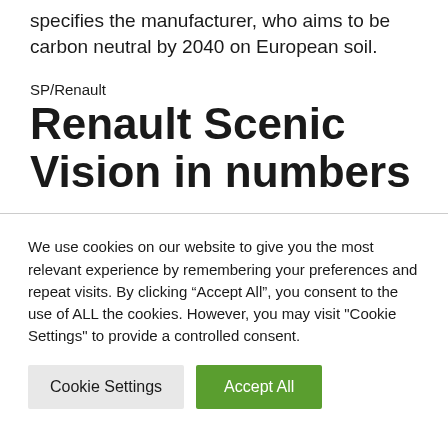specifies the manufacturer, who aims to be carbon neutral by 2040 on European soil.
SP/Renault
Renault Scenic Vision in numbers
We use cookies on our website to give you the most relevant experience by remembering your preferences and repeat visits. By clicking “Accept All”, you consent to the use of ALL the cookies. However, you may visit "Cookie Settings" to provide a controlled consent.